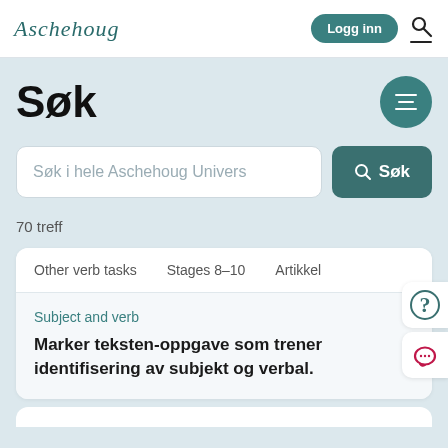Aschehoug  Logg inn
Søk
Søk i hele Aschehoug Univers
70 treff
| Other verb tasks | Stages 8–10 | Artikkel |
| --- | --- | --- |
Subject and verb
Marker teksten-oppgave som trener identifisering av subjekt og verbal.